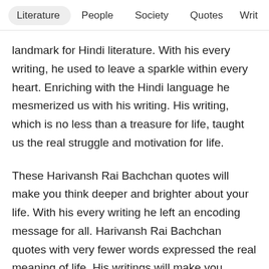Literature  People  Society  Quotes  Writ
landmark for Hindi literature. With his every writing, he used to leave a sparkle within every heart. Enriching with the Hindi language he mesmerized us with his writing. His writing, which is no less than a treasure for life, taught us the real struggle and motivation for life.
These Harivansh Rai Bachchan quotes will make you think deeper and brighter about your life. With his every writing he left an encoding message for all. Harivansh Rai Bachchan quotes with very fewer words expressed the real meaning of life. His writings will make you imagine your life differently and practically.